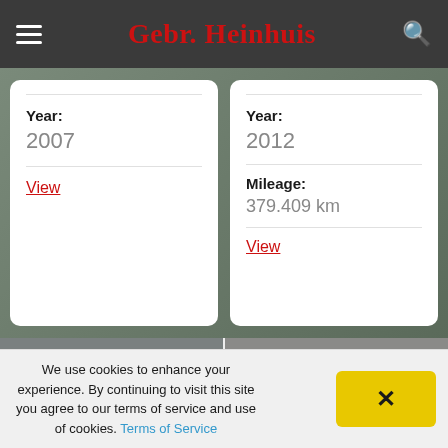Gebr. Heinhuis
Year:
2007
View
Year:
2012
Mileage:
379.409 km
View
[Figure (photo): Red truck tractor (DAF) parked in front of a grey warehouse wall with Gebr. Heinhuis logo]
[Figure (photo): White truck chassis parked in front of a grey warehouse wall with Gebr. Heinhuis logo]
We use cookies to enhance your experience. By continuing to visit this site you agree to our terms of service and use of cookies. Terms of Service